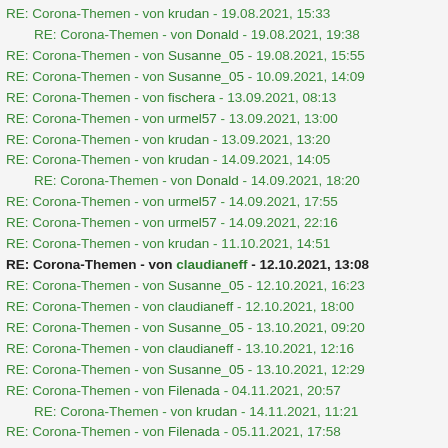RE: Corona-Themen - von krudan - 19.08.2021, 15:33
RE: Corona-Themen - von Donald - 19.08.2021, 19:38
RE: Corona-Themen - von Susanne_05 - 19.08.2021, 15:55
RE: Corona-Themen - von Susanne_05 - 10.09.2021, 14:09
RE: Corona-Themen - von fischera - 13.09.2021, 08:13
RE: Corona-Themen - von urmel57 - 13.09.2021, 13:00
RE: Corona-Themen - von krudan - 13.09.2021, 13:20
RE: Corona-Themen - von krudan - 14.09.2021, 14:05
RE: Corona-Themen - von Donald - 14.09.2021, 18:20
RE: Corona-Themen - von urmel57 - 14.09.2021, 17:55
RE: Corona-Themen - von urmel57 - 14.09.2021, 22:16
RE: Corona-Themen - von krudan - 11.10.2021, 14:51
RE: Corona-Themen - von claudianeff - 12.10.2021, 13:08
RE: Corona-Themen - von Susanne_05 - 12.10.2021, 16:23
RE: Corona-Themen - von claudianeff - 12.10.2021, 18:00
RE: Corona-Themen - von Susanne_05 - 13.10.2021, 09:20
RE: Corona-Themen - von claudianeff - 13.10.2021, 12:16
RE: Corona-Themen - von Susanne_05 - 13.10.2021, 12:29
RE: Corona-Themen - von Filenada - 04.11.2021, 20:57
RE: Corona-Themen - von krudan - 14.11.2021, 11:21
RE: Corona-Themen - von Filenada - 05.11.2021, 17:58
RE: Corona-Themen - von krudan - 07.11.2021, 13:56
RE: Corona-Themen - von Filenada - 23.12.2021, 21:46